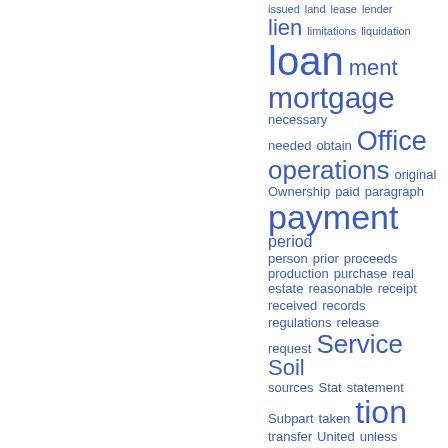[Figure (other): Word cloud showing legal/financial terms in varying sizes in blue, including: issued, land, lease, lender, lien, limitations, liquidation, loan, ment, mortgage, necessary, needed, obtain, Office, operations, original, Ownership, paid, paragraph, payment, period, person, prior, proceeds, production, purchase, real, estate, reasonable, receipt, received, records, regulations, release, request, Service, Soil, sources, Stat, statement, Subpart, taken, tion, transfer, United, unless]